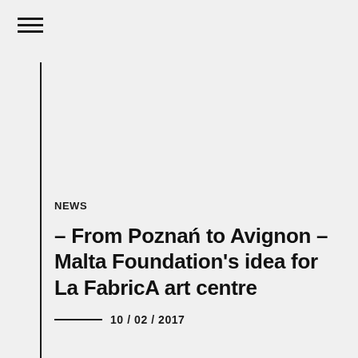[Figure (other): Hamburger menu icon with three horizontal lines]
NEWS
– From Poznań to Avignon – Malta Foundation's idea for La FabricA art centre
10 / 02 / 2017